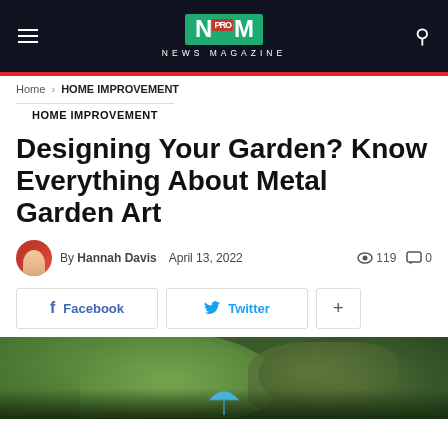NEWS MAGAZINE
Home › HOME IMPROVEMENT
HOME IMPROVEMENT
Designing Your Garden? Know Everything About Metal Garden Art
By Hannah Davis   April 13, 2022   119   0
Facebook   Twitter   +
[Figure (photo): Green foliage/garden leaves with a blue umbrella or garden ornament at the bottom center]